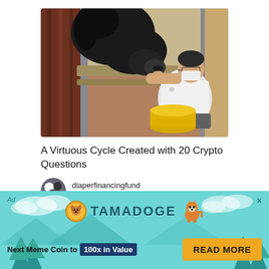[Figure (photo): A person wearing a white polo shirt and face mask crouching near a black horse/pony in what appears to be a stable. There is a yellow bucket/container in the foreground. The person appears to be interacting with or petting the horse.]
A Virtuous Cycle Created with 20 Crypto Questions
diaperfinancingfund
2 hours ago
[Figure (screenshot): Advertisement banner for Tamadoge cryptocurrency. Shows Tamadoge logo with coin icon and dog mascot. Text reads: Next Meme Coin to 100x in Value. READ MORE button in gold/orange color. Background is teal/cyan with decorative trees and clouds.]